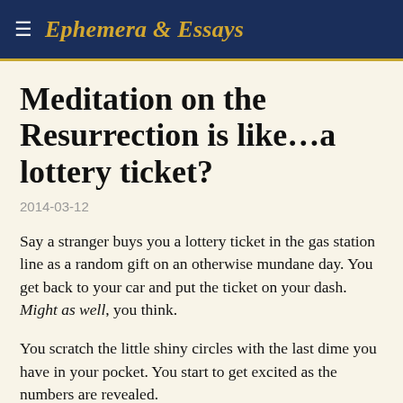Ephemera & Essays
Meditation on the Resurrection is like...a lottery ticket?
2014-03-12
Say a stranger buys you a lottery ticket in the gas station line as a random gift on an otherwise mundane day. You get back to your car and put the ticket on your dash. Might as well, you think.
You scratch the little shiny circles with the last dime you have in your pocket. You start to get excited as the numbers are revealed.